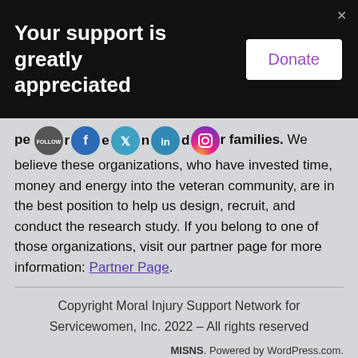Your support is greatly appreciated
people, men, women, and their families. We believe these organizations, who have invested time, money and energy into the veteran community, are in the best position to help us design, recruit, and conduct the research study. If you belong to one of those organizations, visit our partner page for more information: Partner Page.
Copyright Moral Injury Support Network for Servicewomen, Inc. 2022 – All rights reserved
MISNS. Powered by WordPress.com.